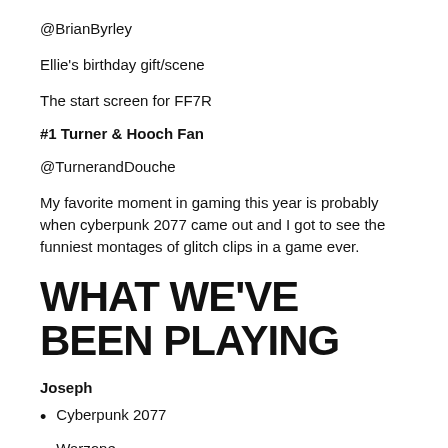@BrianByrley
Ellie's birthday gift/scene
The start screen for FF7R
#1 Turner & Hooch Fan
@TurnerandDouche
My favorite moment in gaming this year is probably when cyberpunk 2077 came out and I got to see the funniest montages of glitch clips in a game ever.
WHAT WE'VE BEEN PLAYING
Joseph
Cyberpunk 2077
Warzone